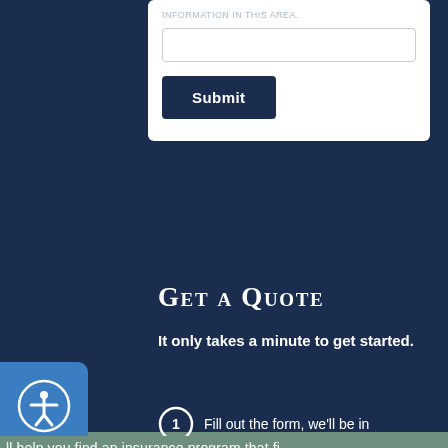[Figure (screenshot): White card with a faded text hint, an empty input field, and a dark navy Submit button]
Get a Quote
It only takes a minute to get started.
Fill out the form, we'll be in
ll help you find an insurance program that fi
Business Insurance
Personal Insurance